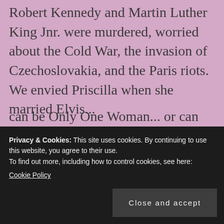Robert Kennedy and Martin Luther King Jnr. were murdered, worried about the Cold War, the invasion of Czechoslovakia, and the Paris riots. We envied Priscilla when she married Elvis...
We wrote about it all and more in Only One Woman, and you can read about Stella, Renza, and Scott with
Privacy & Cookies: This site uses cookies. By continuing to use this website, you agree to their use.
To find out more, including how to control cookies, see here:
Cookie Policy
Close and accept
can be Only One Woman... or can